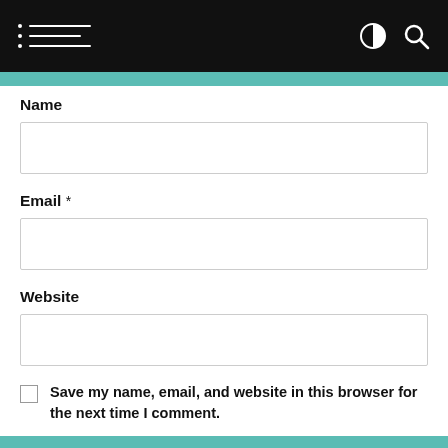Navigation bar with hamburger menu, contrast toggle, and search icon
Name
Email *
Website
Save my name, email, and website in this browser for the next time I comment.